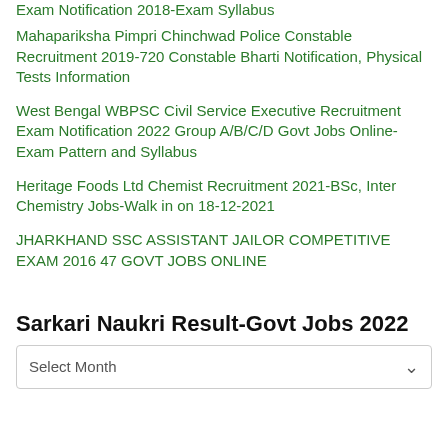Exam Notification 2018-Exam Syllabus
Mahapariksha Pimpri Chinchwad Police Constable Recruitment 2019-720 Constable Bharti Notification, Physical Tests Information
West Bengal WBPSC Civil Service Executive Recruitment Exam Notification 2022 Group A/B/C/D Govt Jobs Online-Exam Pattern and Syllabus
Heritage Foods Ltd Chemist Recruitment 2021-BSc, Inter Chemistry Jobs-Walk in on 18-12-2021
JHARKHAND SSC ASSISTANT JAILOR COMPETITIVE EXAM 2016 47 GOVT JOBS ONLINE
Sarkari Naukri Result-Govt Jobs 2022
Select Month